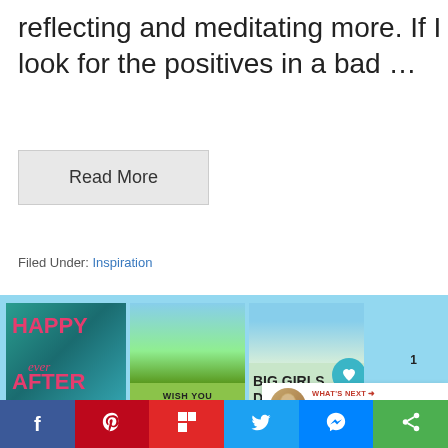reflecting and meditating more. If I look for the positives in a bad …
Read More
Filed Under: Inspiration
[Figure (illustration): Book covers displayed on a light blue banner: 'Happy Ever After' by Joanne Tracey, 'Wish You Were Here' by Joanne Tracey, and 'Big Girls Don't Cry'. Overlaid with heart and share buttons, a badge showing '1', and a 'What's Next' panel with avatar and text 'To grey or not to go grey?...']
f | Pinterest | Flipboard | Twitter | Messenger | Share